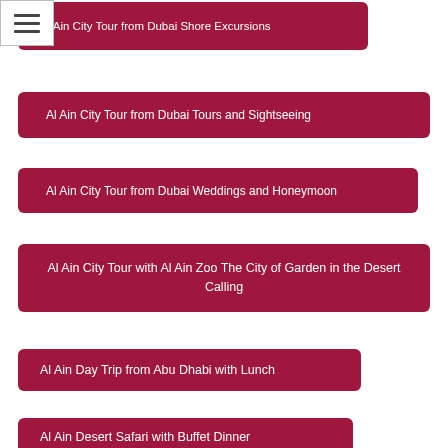[Figure (screenshot): Hamburger menu icon button in top-left corner]
Al Ain City Tour from Dubai Shore Excursions
Al Ain City Tour from Dubai Tours and Sightseeing
Al Ain City Tour from Dubai Weddings and Honeymoon
Al Ain City Tour with Al Ain Zoo The City of Garden in the Desert Calling
Al Ain Day Trip from Abu Dhabi with Lunch
Al Ain Desert Safari with Buffet Dinner